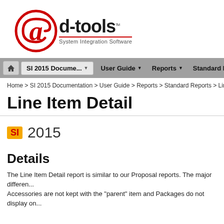[Figure (logo): d-tools logo with red @ symbol and text 'd-tools System Integration Software' with red underline]
[Figure (screenshot): Navigation bar with home icon, SI 2015 Docume... dropdown, User Guide dropdown, Reports dropdown, Standard Rep... button]
Home > SI 2015 Documentation > User Guide > Reports > Standard Reports > Line Item...
Line Item Detail
[Figure (logo): SI 2015 badge — gold/yellow square with red SI text followed by '2015' in gray]
Details
The Line Item Detail report is similar to our Proposal reports. The major differen... Accessories are not kept with the "parent" item and Packages do not display on...